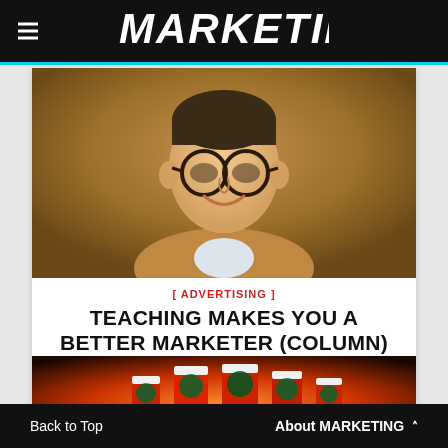MARKETING
[Figure (photo): Portrait photo of Tim Dolan, a man with glasses wearing a camel/tan sweater, smiling, with warm brown background]
[ ADVERTISING ]
TEACHING MAKES YOU A BETTER MARKETER (COLUMN)
Tim Dolan on the crucible of the classroom and the effects in the boardroom
[Figure (photo): Starbucks holiday red cups lined up with bokeh background of warm orange and yellow lights]
Back to Top    About MARKETING ^